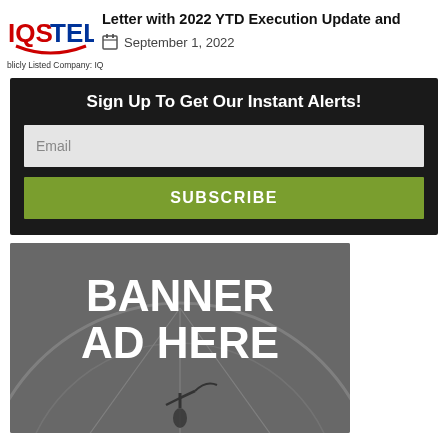[Figure (logo): IQSTEL logo with red and blue text and swoosh graphic]
Letter with 2022 YTD Execution Update and
Publicly Listed Company: IQ
September 1, 2022
Sign Up To Get Our Instant Alerts!
Email
SUBSCRIBE
[Figure (photo): Gray-toned banner ad placeholder image showing a person with an umbrella in front of a large satellite dish or radar structure, with white bold text reading BANNER AD HERE]